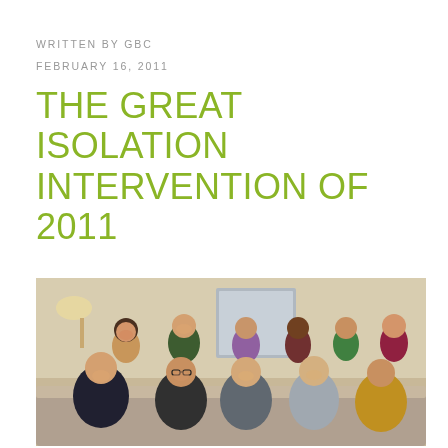WRITTEN BY GBC
FEBRUARY 16, 2011
THE GREAT ISOLATION INTERVENTION OF 2011
[Figure (photo): Group photo of approximately 11 people, men and women of various ethnicities, seated and standing together in a casual indoor setting. They are smiling at the camera.]